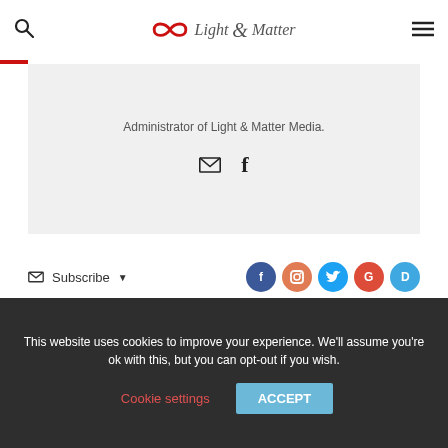Light & Matter
Administrator of Light & Matter Media.
[Figure (illustration): Email envelope icon and Facebook f icon for social links]
Subscribe
[Figure (illustration): Social media icons: Facebook, Instagram, Twitter, Google, Disqus]
5000
This website uses cookies to improve your experience. We'll assume you're ok with this, but you can opt-out if you wish.
Cookie settings
ACCEPT